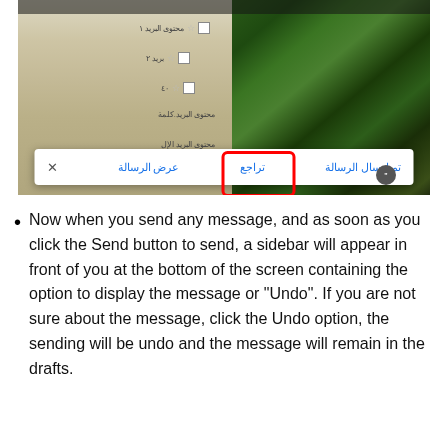[Figure (screenshot): Screenshot of a Gmail-like email interface showing an email list on the left against a blurred nature background, and a nature photo on the right. At the bottom, a toolbar with Arabic text options: 'تم إرسال الرسالة' (Message sent), 'تراجع' (Undo) highlighted with a red rectangle border, 'عرض الرسالة' (View message), and an X close button.]
Now when you send any message, and as soon as you click the Send button to send, a sidebar will appear in front of you at the bottom of the screen containing the option to display the message or "Undo". If you are not sure about the message, click the Undo option, the sending will be undo and the message will remain in the drafts.